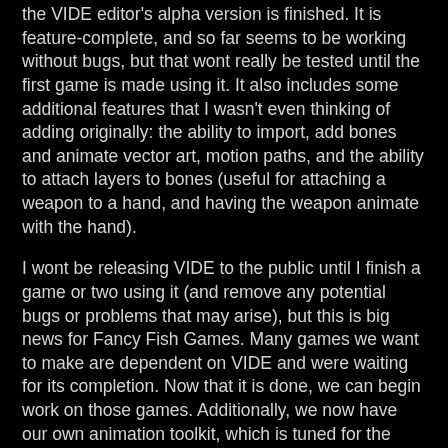the VIDE editor's alpha version is finished. It is feature-complete, and so far seems to be working without bugs, but that wont really be tested until the first game is made using it. It also includes some additional features that I wasn't even thinking of adding originally: the ability to import, add bones and animate vector art, motion paths, and the ability to attach layers to bones (useful for attaching a weapon to a hand, and having the weapon animate with the hand).
I wont be releasing VIDE to the public until I finish a game or two using it (and remove any potential bugs or problems that may arise), but this is big news for Fancy Fish Games. Many games we want to make are dependent on VIDE and were waiting for its completion. Now that it is done, we can begin work on those games. Additionally, we now have our own animation toolkit, which is tuned for the kinds of games we want to make.
Look forward to some updates on our game projects now that VIDE is done!
Legend of Gamedev at 5:16 PM    No comments: